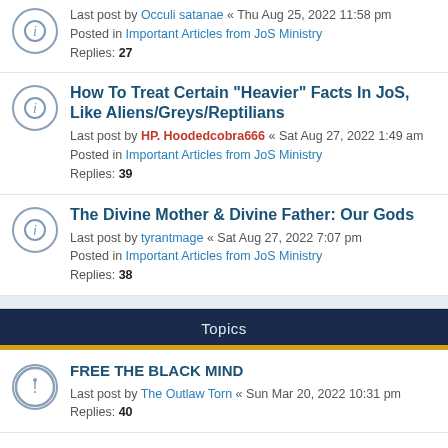Last post by Occuli satanae « Thu Aug 25, 2022 11:58 pm
Posted in Important Articles from JoS Ministry
Replies: 27
How To Treat Certain "Heavier" Facts In JoS, Like Aliens/Greys/Reptilians
Last post by HP. Hoodedcobra666 « Sat Aug 27, 2022 1:49 am
Posted in Important Articles from JoS Ministry
Replies: 39
The Divine Mother & Divine Father: Our Gods
Last post by tyrantmage « Sat Aug 27, 2022 7:07 pm
Posted in Important Articles from JoS Ministry
Replies: 38
Topics
FREE THE BLACK MIND
Last post by The Outlaw Torn « Sun Mar 20, 2022 10:31 pm
Replies: 40